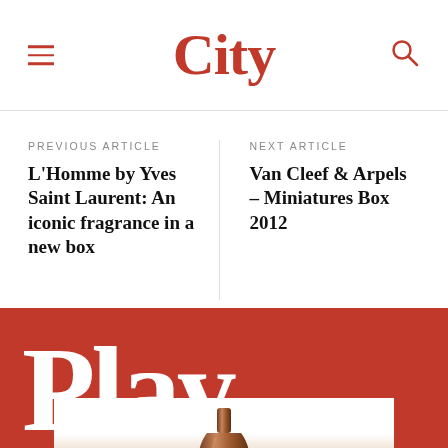City
PREVIOUS ARTICLE
L'Homme by Yves Saint Laurent: An iconic fragrance in a new box
NEXT ARTICLE
Van Cleef & Arpels – Miniatures Box 2012
Play